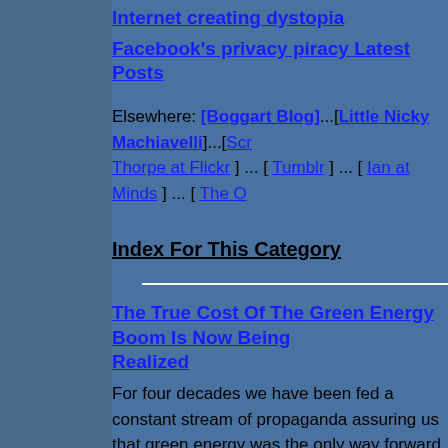Internet creating dystopia
Facebook's privacy piracy Latest Posts
Elsewhere: [Boggart Blog]...[Little Nicky Machiavelli]...[Scr Thorpe at Flickr] ... [ Tumblr ] ... [ Ian at Minds ] ... [ The O
Index For This Category
The True Cost Of The Green Energy Boom Is Now Being Realized
For four decades we have been fed a constant stream of propaganda assuring us that green energy was the only way forward if we wanted to secure supplies of the energy essenti a modern society while preventing the environmental catastrophes that would be the inevitable consequence of clim change caused by the Carbon Dioxide (CO2) emitted by hum